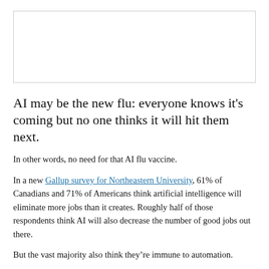[Figure (other): Image placeholder at the top of the page, white with a light gray border]
AI may be the new flu: everyone knows it's coming but no one thinks it will hit them next.
In other words, no need for that AI flu vaccine.
In a new Gallup survey for Northeastern University, 61% of Canadians and 71% of Americans think artificial intelligence will eliminate more jobs than it creates. Roughly half of those respondents think AI will also decrease the number of good jobs out there.
But the vast majority also think they’re immune to automation.
Despite a general concern about the impact of AI, only 37% of Canadians and 17% of Americans think their job will be